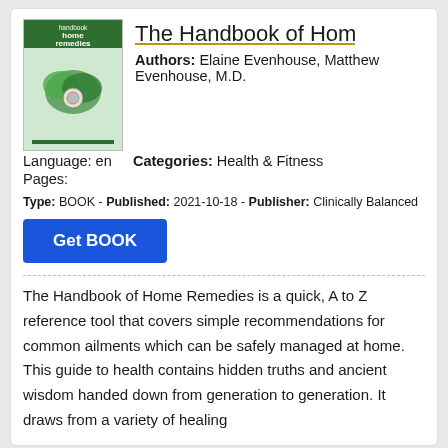[Figure (illustration): Book cover for The Handbook of Home Remedies showing green leaf imagery]
The Handbook of Home R
Authors: Elaine Evenhouse, Matthew Evenhouse, M.D.
Language: en
Categories: Health & Fitness
Pages:
Type: BOOK - Published: 2021-10-18 - Publisher: Clinically Balanced
Get BOOK
The Handbook of Home Remedies is a quick, A to Z reference tool that covers simple recommendations for common ailments which can be safely managed at home. This guide to health contains hidden truths and ancient wisdom handed down from generation to generation. It draws from a variety of healing
[Figure (illustration): Book cover for Transdermal Magnesium — pink/brown toned cover]
Transdermal Magnesiu...